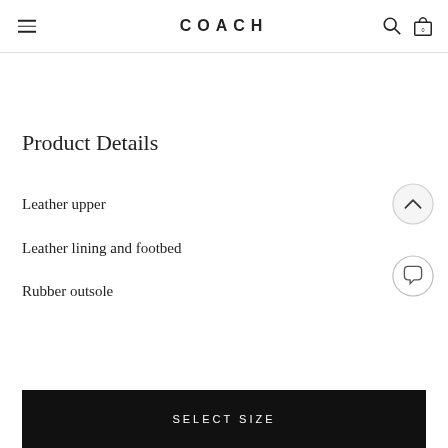COACH
Product Details
Leather upper
Leather lining and footbed
Rubber outsole
SELECT SIZE